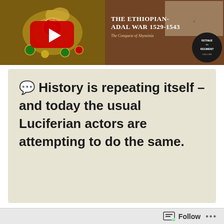[Figure (screenshot): Two thumbnails side by side: left shows an Ottoman decorative emblem with YouTube play button overlay; right shows a book cover 'The Ethiopian-Adal War 1529-1543 The Conquest of Abyssinia' with a circular badge reading 'Retinue to Regiment 14?? 1??']
💬 History is repeating itself – and today the usual Luciferian actors are attempting to do the same.
💥 This time, Portugal won't
Follow ...